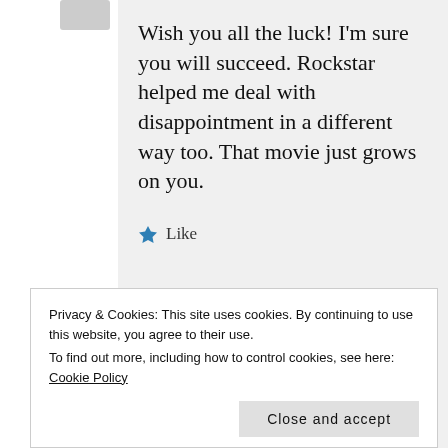Wish you all the luck! I'm sure you will succeed. Rockstar helped me deal with disappointment in a different way too. That movie just grows on you.
★ Like
JULY 24, 2016 AT 8:50 PM
Privacy & Cookies: This site uses cookies. By continuing to use this website, you agree to their use.
To find out more, including how to control cookies, see here: Cookie Policy
Close and accept